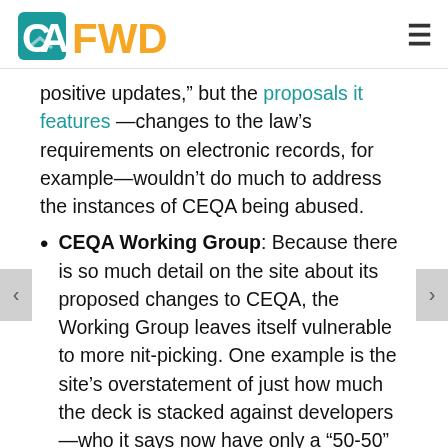CA FWD
positive updates,” but the proposals it features —changes to the law’s requirements on electronic records, for example—wouldn’t do much to address the instances of CEQA being abused.
CEQA Working Group: Because there is so much detail on the site about its proposed changes to CEQA, the Working Group leaves itself vulnerable to more nit-picking. One example is the site’s overstatement of just how much the deck is stacked against developers —who it says now have only a “50-50” chance of winning in court in CEQA cases, “even